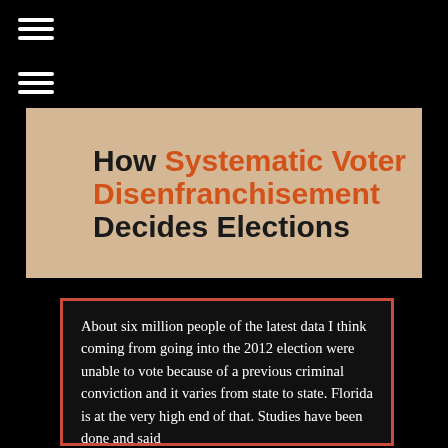[Figure (illustration): Hamburger menu icon (three horizontal white lines) at top left]
[Figure (illustration): Second hamburger menu icon (three horizontal white lines) below the first]
[Figure (illustration): Banner image with beige/tan background showing text: 'How Systematic Voter Disenfranchisement Decides Elections' with 'Systematic Voter Disenfranchisement' in orange and rest in dark/black]
About six million people of the latest data I think coming from going into the 2012 election were unable to vote because of a previous criminal conviction and it varies from state to state. Florida is at the very high end of that. Studies have been done and said